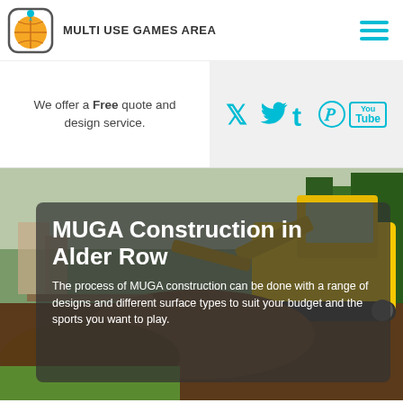[Figure (logo): Basketball icon with location pin, orange and yellow colors, rounded square border]
MULTI USE GAMES AREA
[Figure (infographic): Hamburger menu icon with three cyan/teal horizontal bars]
We offer a Free quote and design service.
[Figure (infographic): Social media icons: Twitter bird, Tumblr t, Pinterest P, YouTube box - all in cyan/teal color on light grey background]
[Figure (photo): Construction excavator/digger working on a site with soil and trees in background]
MUGA Construction in Alder Row
The process of MUGA construction can be done with a range of designs and different surface types to suit your budget and the sports you want to play.